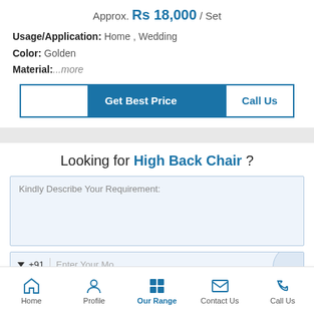Approx. Rs 18,000 / Set
Usage/Application: Home , Wedding
Color: Golden
Material: ...more
Get Best Price | Call Us
Looking for High Back Chair ?
Kindly Describe Your Requirement:
+91  Enter Your Mo...
Home  Profile  Our Range  Contact Us  Call Us